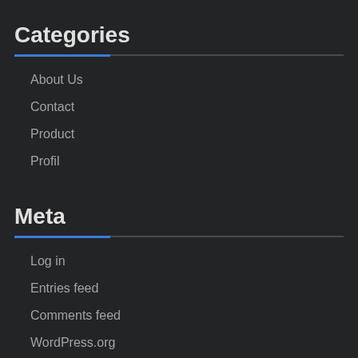Categories
About Us
Contact
Product
Profil
Meta
Log in
Entries feed
Comments feed
WordPress.org